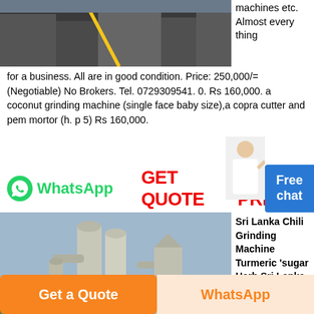[Figure (photo): Industrial machinery or factory equipment, photographed outdoors]
machines etc. Almost every thing for a business. All are in good condition. Price: 250,000/= (Negotiable) No Brokers. Tel. 0729309541. 0. Rs 160,000. a coconut grinding machine (single face baby size),a copra cutter and pem mortor (h. p 5) Rs 160,000.
[Figure (photo): WhatsApp logo icon (green circle with phone handset)]
WhatsApp
GET QUOTE   GET PRICE
Free chat
[Figure (photo): Industrial grinding or milling plant with silos and pipes outdoors]
Sri Lanka Chili Grinding Machine Turmeric 'sugar Herb Sri Lanka